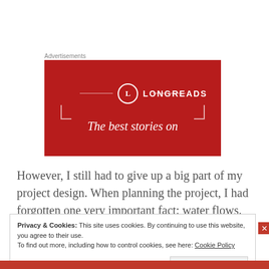Advertisements
[Figure (screenshot): Longreads advertisement banner with red background, circular L logo, decorative bracket lines, and text 'The best stories on']
However, I still had to give up a big part of my project design. When planning the project, I had forgotten one very important fact: water flows. Unlike ground
Privacy & Cookies: This site uses cookies. By continuing to use this website, you agree to their use.
To find out more, including how to control cookies, see here: Cookie Policy
Close and accept